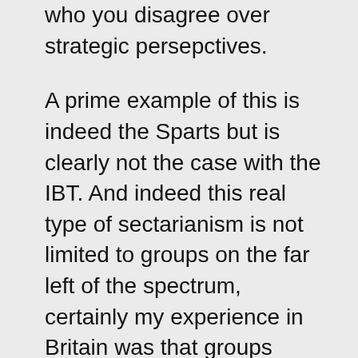who you disagree over strategic persepctives.
A prime example of this is indeed the Sparts but is clearly not the case with the IBT. And indeed this real type of sectarianism is not limited to groups on the far left of the spectrum, certainly my experience in Britain was that groups much closer to social democracy were well capable of being sectarian in their approach to united activity in defence of our class.
And on a personal note I can't help